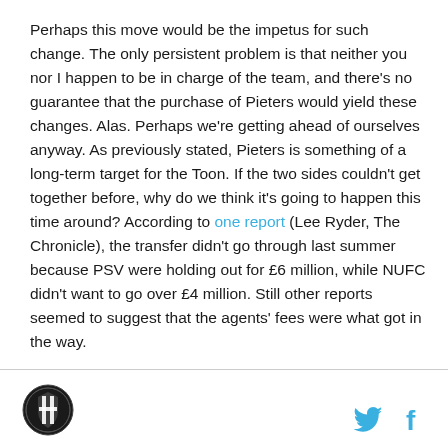Perhaps this move would be the impetus for such change. The only persistent problem is that neither you nor I happen to be in charge of the team, and there's no guarantee that the purchase of Pieters would yield these changes. Alas. Perhaps we're getting ahead of ourselves anyway. As previously stated, Pieters is something of a long-term target for the Toon. If the two sides couldn't get together before, why do we think it's going to happen this time around? According to one report (Lee Ryder, The Chronicle), the transfer didn't go through last summer because PSV were holding out for £6 million, while NUFC didn't want to go over £4 million. Still other reports seemed to suggest that the agents' fees were what got in the way.
[Figure (logo): Newcastle United circular badge logo in black and white]
[Figure (other): Twitter bird icon and Facebook f icon in light blue]